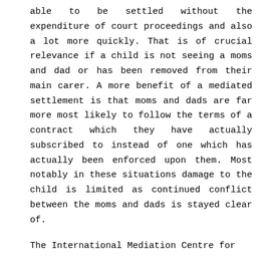able to be settled without the expenditure of court proceedings and also a lot more quickly. That is of crucial relevance if a child is not seeing a moms and dad or has been removed from their main carer. A more benefit of a mediated settlement is that moms and dads are far more most likely to follow the terms of a contract which they have actually subscribed to instead of one which has actually been enforced upon them. Most notably in these situations damage to the child is limited as continued conflict between the moms and dads is stayed clear of.
The International Mediation Centre for